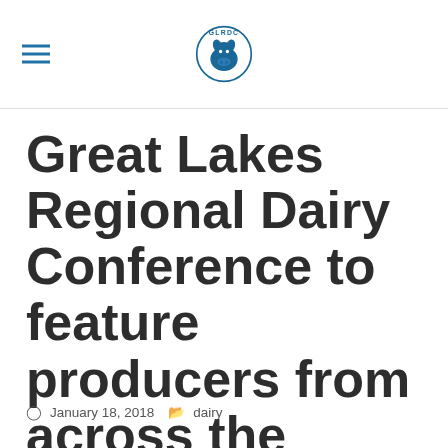GLRDC
Great Lakes Regional Dairy Conference to feature producers from across the country
January 18, 2018  dairy